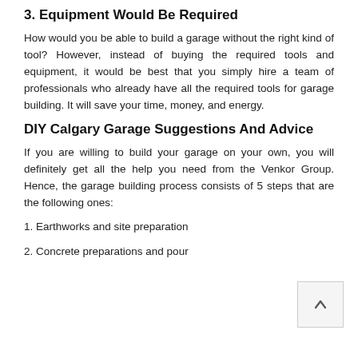3. Equipment Would Be Required
How would you be able to build a garage without the right kind of tool? However, instead of buying the required tools and equipment, it would be best that you simply hire a team of professionals who already have all the required tools for garage building. It will save your time, money, and energy.
DIY Calgary Garage Suggestions And Advice
If you are willing to build your garage on your own, you will definitely get all the help you need from the Venkor Group. Hence, the garage building process consists of 5 steps that are the following ones:
1. Earthworks and site preparation
2. Concrete preparations and pour